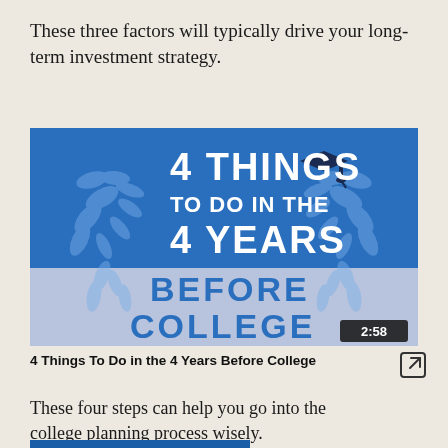These three factors will typically drive your long-term investment strategy.
[Figure (infographic): Blue and light blue infographic thumbnail for a video titled '4 Things To Do In The 4 Years Before College' with a graduation cap icon and decorative laurel wreaths. Duration badge shows 2:58.]
4 Things To Do in the 4 Years Before College
These four steps can help you go into the college planning process wisely.
[Figure (screenshot): BrokerCheck popup overlay from FINRA with text 'Check the background of this investment professional' and BrokerCheck logo with FINRA branding.]